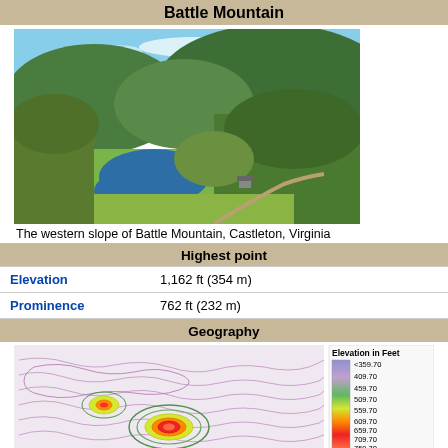Battle Mountain
[Figure (photo): Aerial photo of the western slope of Battle Mountain, Castleton, Virginia, showing forested hills, a river bend with a pond, and green meadows]
The western slope of Battle Mountain, Castleton, Virginia
Highest point
| Elevation | 1,162 ft (354 m) |
| Prominence | 762 ft (232 m) |
Geography
[Figure (map): Topographic contour map of Battle Mountain elevation with color gradient legend showing Elevation in Feet from <359.70 to 759.70+]